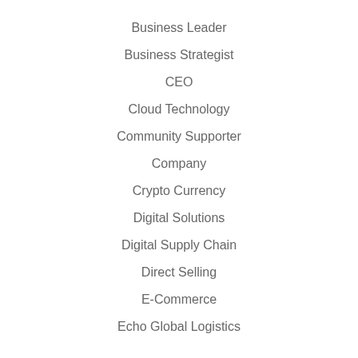Business Leader
Business Strategist
CEO
Cloud Technology
Community Supporter
Company
Crypto Currency
Digital Solutions
Digital Supply Chain
Direct Selling
E-Commerce
Echo Global Logistics